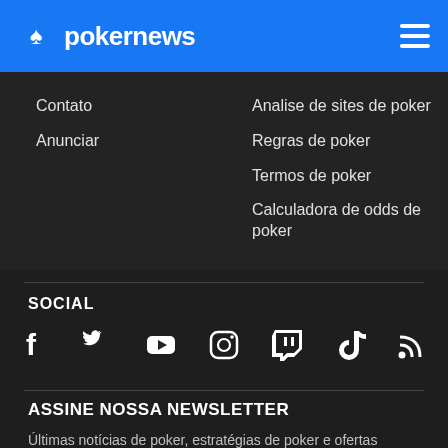pokernews
Contato
Anunciar
Analise de sites de poker
Regras de poker
Termos de poker
Calculadora de odds de poker
SOCIAL
[Figure (infographic): Row of 7 social media icons: Facebook, Twitter, YouTube, Instagram, Twitch, TikTok, RSS]
ASSINE NOSSA NEWSLETTER
Últimas notícias de poker, estratégias de poker e ofertas especiais.